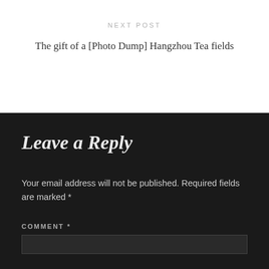NEXT POST
The gift of a [Photo Dump] Hangzhou Tea fields
Leave a Reply
Your email address will not be published. Required fields are marked *
COMMENT *